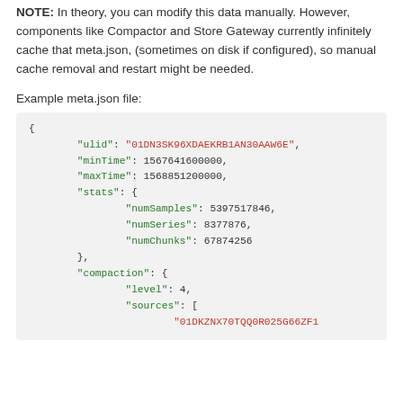NOTE: In theory, you can modify this data manually. However, components like Compactor and Store Gateway currently infinitely cache that meta.json, (sometimes on disk if configured), so manual cache removal and restart might be needed.
Example meta.json file:
{ "ulid": "01DN3SK96XDAEKRB1AN30AAW6E", "minTime": 1567641600000, "maxTime": 1568851200000, "stats": { "numSamples": 5397517846, "numSeries": 8377876, "numChunks": 67874256 }, "compaction": { "level": 4, "sources": [ "01DKZNX70TQQ0R025G66ZF1...